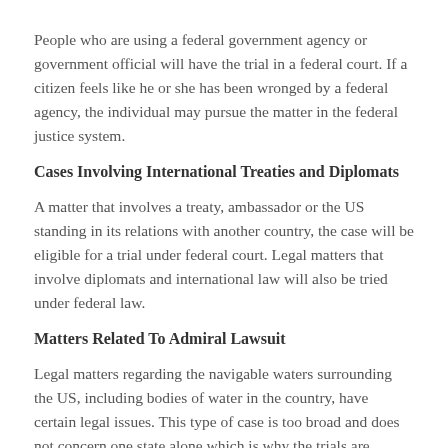People who are using a federal government agency or government official will have the trial in a federal court. If a citizen feels like he or she has been wronged by a federal agency, the individual may pursue the matter in the federal justice system.
Cases Involving International Treaties and Diplomats
A matter that involves a treaty, ambassador or the US standing in its relations with another country, the case will be eligible for a trial under federal court. Legal matters that involve diplomats and international law will also be tried under federal law.
Matters Related To Admiral Lawsuit
Legal matters regarding the navigable waters surrounding the US, including bodies of water in the country, have certain legal issues. This type of case is too broad and does not concern one state alone which is why the trials are